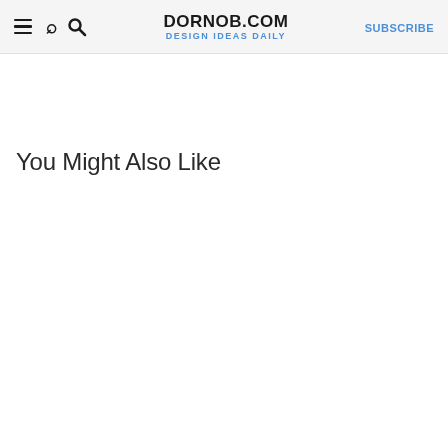≡ 🔍  DORNOB.COM  DESIGN IDEAS DAILY  SUBSCRIBE
You Might Also Like